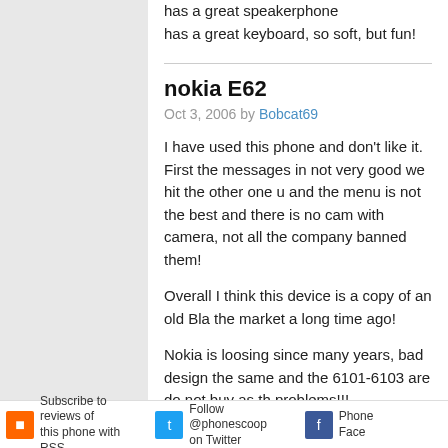has a great speakerphone
has a great keyboard, so soft, but fun!
nokia E62
Oct 3, 2006 by Bobcat69
I have used this phone and don't like it. First the messages in not very good we hit the other one u and the menu is not the best and there is no cam with camera, not all the company banned them!
Overall I think this device is a copy of an old Bla the market a long time ago!
Nokia is loosing since many years, bad design the same and the 6101-6103 are do not buy as th problems!!!
Previous  Page  1  2  3
Add your review
Subscribe to reviews of this phone with RSS  Follow @phonescoop on Twitter  Phone Face